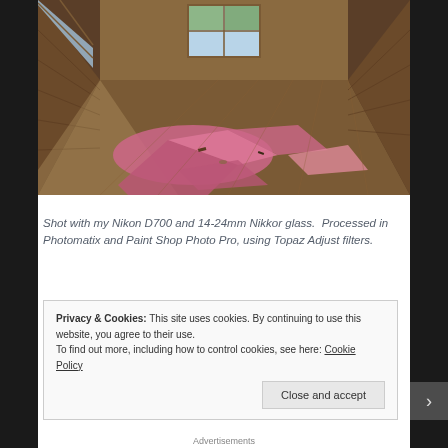[Figure (photo): Interior of an abandoned room with wooden paneled walls and wood plank floor. Pink insulation and debris scattered across the floor. Two windows visible in the background letting in natural light. Wide-angle HDR photograph.]
Shot with my Nikon D700 and 14-24mm Nikkor glass.  Processed in Photomatix and Paint Shop Photo Pro, using Topaz Adjust filters.
Privacy & Cookies: This site uses cookies. By continuing to use this website, you agree to their use.
To find out more, including how to control cookies, see here: Cookie Policy
Close and accept
Advertisements